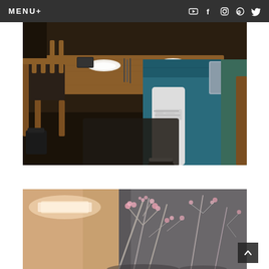MENU+  [social icons: YouTube, Facebook, Instagram, Pinterest, Twitter]
[Figure (photo): A person sitting on a teal blue bench/sofa at a wooden restaurant table, wearing ripped white jeans and black and white sneakers. Wooden chairs visible in the foreground. White bowls and cutlery on the table.]
[Figure (photo): A close-up photo of bare branches with pink cherry blossoms in a vase or arrangement, with soft warm light on the left and a dark grey wall in the background.]